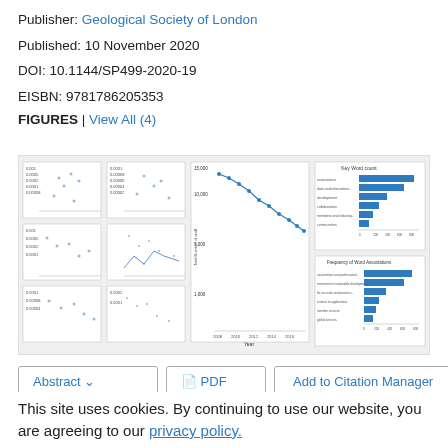Publisher: Geological Society of London
Published: 10 November 2020
DOI: 10.1144/SP499-2020-19
EISBN: 9781786205353
FIGURES | View All (4)
[Figure (other): Thumbnail preview of 4 figures including scatter plots, a line chart showing Total Number of staff over Year, and two horizontal bar charts showing Key Word count and Frequency of Word Associations.]
Abstract ∨   PDF   Add to Citation Manager
This site uses cookies. By continuing to use our website, you are agreeing to our privacy policy. Accept
Impact of the COVID-19 Pandemic on the Minerals Sector: A Real Time Survey